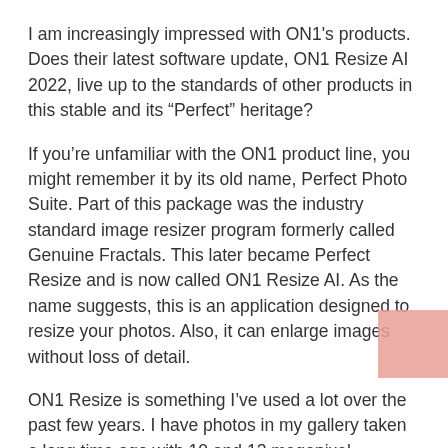I am increasingly impressed with ON1's products. Does their latest software update, ON1 Resize AI 2022, live up to the standards of other products in this stable and its “Perfect” heritage?
If you’re unfamiliar with the ON1 product line, you might remember it by its old name, Perfect Photo Suite. Part of this package was the industry standard image resizer program formerly called Genuine Fractals. This later became Perfect Resize and is now called ON1 Resize AI. As the name suggests, this is an application designed to resize your photos. Also, it can enlarge images without loss of detail.
ON1 Resize is something I’ve used a lot over the past few years. I have photos in my gallery taken a long time ago with 10 and 12 megapixel cameras. Clients always want large prints of them, so I used Resize to scale these images. I found it to be a much more accurate tool for this than Photoshop.
ON1 is now producing AI-powered components for its